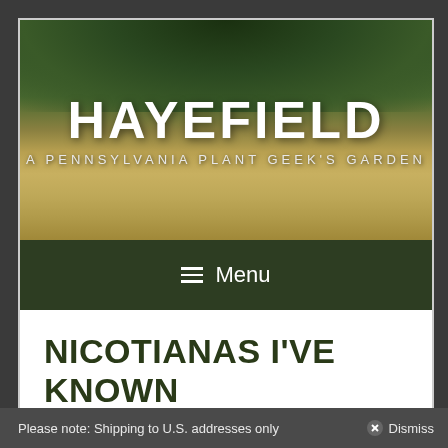[Figure (photo): Website header banner showing a hayfield with dark green trees in the background. White bold text reads HAYEFIELD and below it in lighter smaller caps: A PENNSYLVANIA PLANT GEEK'S GARDEN.]
≡ Menu
NICOTIANAS I'VE KNOWN AND LOVED
Please note: Shipping to U.S. addresses only    ⊗ Dismiss